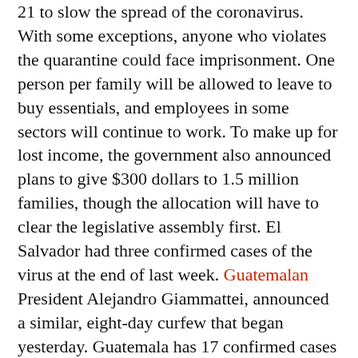21 to slow the spread of the coronavirus. With some exceptions, anyone who violates the quarantine could face imprisonment. One person per family will be allowed to leave to buy essentials, and employees in some sectors will continue to work. To make up for lost income, the government also announced plans to give $300 dollars to 1.5 million families, though the allocation will have to clear the legislative assembly first. El Salvador had three confirmed cases of the virus at the end of last week. Guatemalan President Alejandro Giammattei, announced a similar, eight-day curfew that began yesterday. Guatemala has 17 confirmed cases and one death.
NICARAGUA: Nicaragua confirmed its first two cases of COVID-19 on Friday. The virus has caused alarm in a country with fewer than 6,000 available hospital beds and 160 total